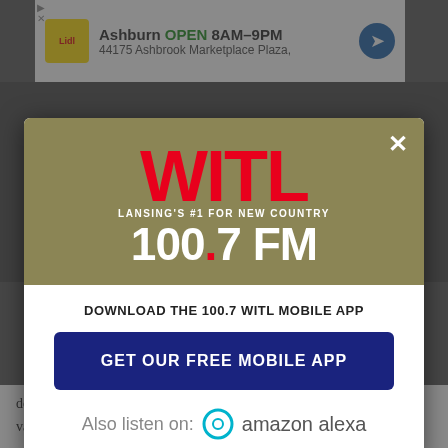[Figure (screenshot): Advertisement banner for Lidl grocery store showing Ashburn location, OPEN 8AM-9PM, 44175 Ashbrook Marketplace Plaza]
[Figure (logo): WITL 100.7 FM radio station logo - Lansing's #1 for New Country, shown in a modal dialog popup]
DOWNLOAD THE 100.7 WITL MOBILE APP
GET OUR FREE MOBILE APP
Also listen on:  amazon alexa
doses of vaccine by January 2021. While that goal has not been met, the vaccines were developed unprecedentedly